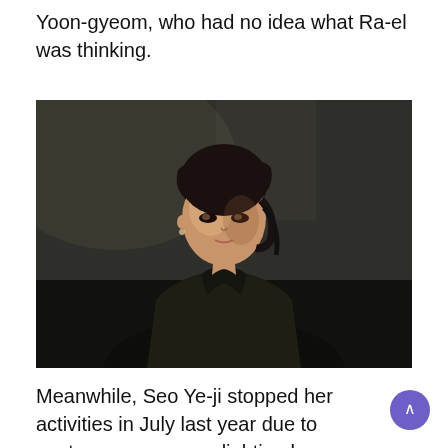Yoon-gyeom, who had no idea what Ra-el was thinking.
[Figure (photo): Photo of a young Korean woman with dark hair pulled up, wearing a dark olive/black jacket, looking upward with a focused expression. Dark blurred background.]
Meanwhile, Seo Ye-ji stopped her activities in July last year due to controversy over gaslighting her ex boyfriend Kim Jung-hyun, school violence, forgery of